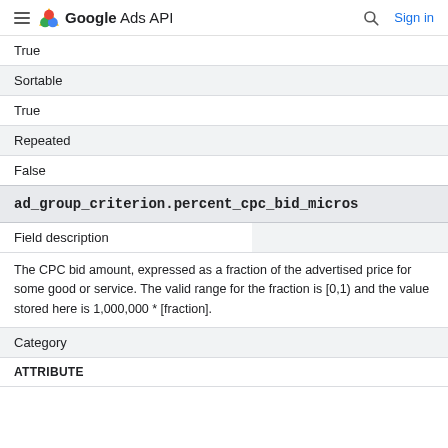Google Ads API
True
| Sortable |
| --- |
True
| Repeated |
| --- |
False
| ad_group_criterion.percent_cpc_bid_micros |
| --- |
| Field description |  |
| The CPC bid amount, expressed as a fraction of the advertised price for some good or service. The valid range for the fraction is [0,1) and the value stored here is 1,000,000 * [fraction]. |  |
| Category |  |
| ATTRIBUTE |  |